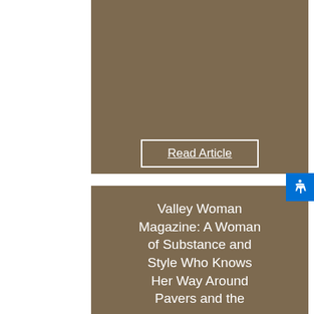[Figure (photo): Banner image showing 'Interesting & Influential Women of the Coachella Valley' text on the left, a photo of Charissa Farley (blonde woman) in the center, and a green CV logo tile in the upper right with the name 'Charissa Farley' below it.]
Read Article
Valley Woman Magazine: A Woman of Substance and Style Who Knows Her Way Around Pavers and the